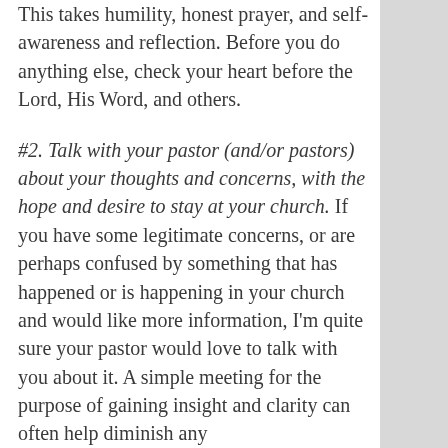This takes humility, honest prayer, and self-awareness and reflection. Before you do anything else, check your heart before the Lord, His Word, and others.
#2. Talk with your pastor (and/or pastors) about your thoughts and concerns, with the hope and desire to stay at your church. If you have some legitimate concerns, or are perhaps confused by something that has happened or is happening in your church and would like more information, I'm quite sure your pastor would love to talk with you about it. A simple meeting for the purpose of gaining insight and clarity can often help diminish any